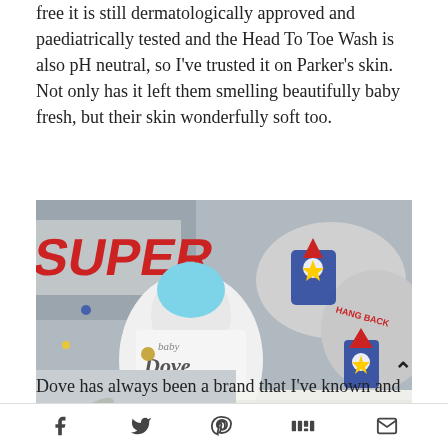free it is still dermatologically approved and paediatrically tested and the Head To Toe Wash is also pH neutral, so I've trusted it on Parker's skin. Not only has it left them smelling beautifully baby fresh, but their skin wonderfully soft too.
[Figure (photo): Baby Dove lotion bottle placed next to baby slippers with superhero embroidery, on a patterned fabric background with diapers visible]
Dove has always been a brand that I've known and trusted,